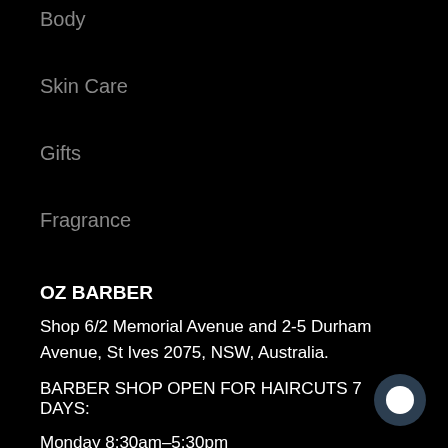Body
Skin Care
Gifts
Fragrance
OZ BARBER
Shop 6/2 Memorial Avenue and 2-5 Durham Avenue, St Ives 2075, NSW, Australia.
BARBER SHOP OPEN FOR HAIRCUTS 7 DAYS:
Monday 8:30am–5:30pm
Tuesday 8:30am–5:30pm